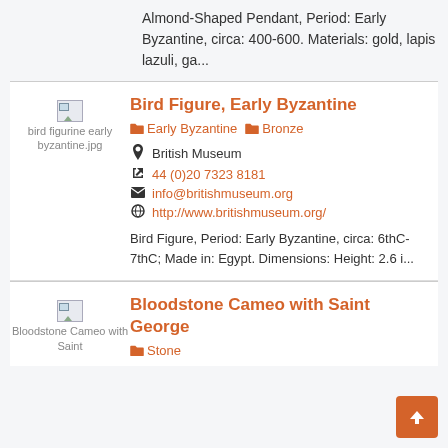Almond-Shaped Pendant, Period: Early Byzantine, circa: 400-600. Materials: gold, lapis lazuli, ga...
Bird Figure, Early Byzantine
Early Byzantine   Bronze
British Museum
44 (0)20 7323 8181
info@britishmuseum.org
http://www.britishmuseum.org/
Bird Figure, Period: Early Byzantine, circa: 6thC-7thC; Made in: Egypt. Dimensions: Height: 2.6 i...
Bloodstone Cameo with Saint George
Stone